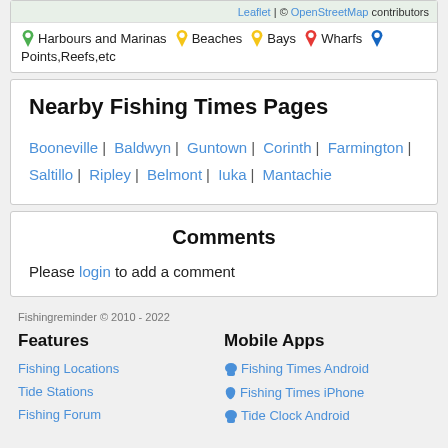[Figure (map): Map legend showing location pin types: Harbours and Marinas (green), Beaches (yellow), Bays (yellow), Wharfs (red), Points,Reefs,etc (blue). Top right shows Leaflet | © OpenStreetMap contributors attribution.]
Nearby Fishing Times Pages
Booneville | Baldwyn | Guntown | Corinth | Farmington | Saltillo | Ripley | Belmont | Iuka | Mantachie
Comments
Please login to add a comment
Fishingreminder © 2010 - 2022
Features
Fishing Locations
Tide Stations
Fishing Forum
Mobile Apps
Fishing Times Android
Fishing Times iPhone
Tide Clock Android